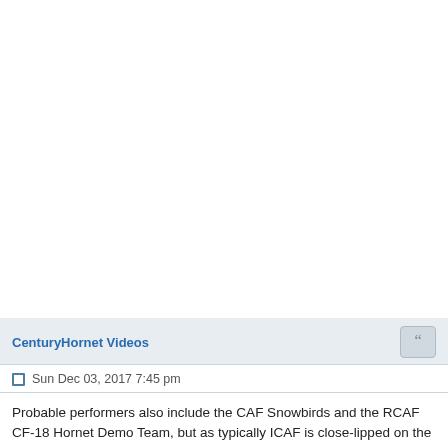CenturyHornet Videos
Sun Dec 03, 2017 7:45 pm
Probable performers also include the CAF Snowbirds and the RCAF CF-18 Hornet Demo Team, but as typically ICAF is close-lipped on the 2018 F-35